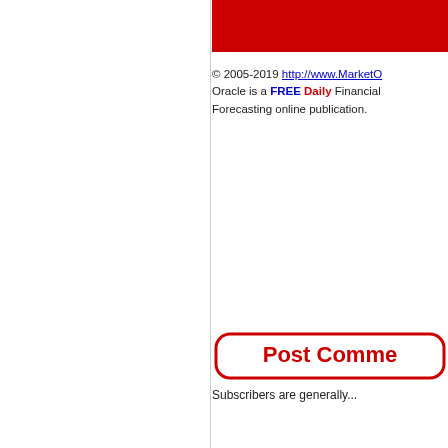[Figure (other): Red banner/header bar at top right column]
© 2005-2019 http://www.MarketO... Oracle is a FREE Daily Financial Forecasting online publication.
[Figure (other): Post Comment button with red rounded rectangle border and bold red text]
Subscribers are generally...